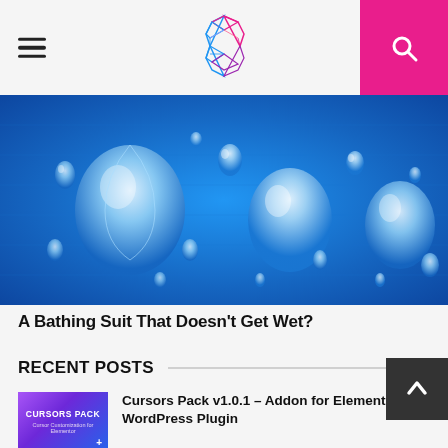Navigation header with hamburger menu, logo, and search button
[Figure (photo): Close-up macro photo of water droplets on blue fabric/textile surface. Multiple large and small clear water droplets beading on what appears to be a hydrophobic blue woven material.]
A Bathing Suit That Doesn’t Get Wet?
RECENT POSTS
[Figure (screenshot): Thumbnail image for Cursors Pack plugin - purple/blue gradient background with text CURSORS PACK and subtitle Cursor Customization for Elementor]
Cursors Pack v1.0.1 – Addon for Elementor WordPress Plugin